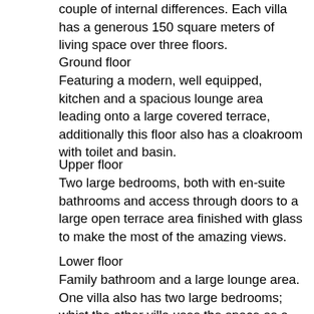couple of internal differences. Each villa has a generous 150 square meters of living space over three floors.
Ground floor
Featuring a modern, well equipped, kitchen and a spacious lounge area leading onto a large covered terrace, additionally this floor also has a cloakroom with toilet and basin.
Upper floor
Two large bedrooms, both with en-suite bathrooms and access through doors to a large open terrace area finished with glass to make the most of the amazing views.
Lower floor
Family bathroom and a large lounge area. One villa also has two large bedrooms; whist the other villa uses the space as a large storage area with a sofa bed and a gym.
The outside landscaped gardens feature summer kitchens, covered seating areas, car ports and 7x3 meter infinity pools – all set within a manageable plot of just